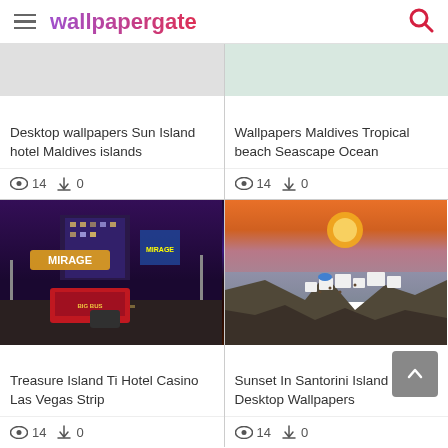wallpapergate
[Figure (screenshot): Partial top of wallpaper card 1 - cropped image area]
Desktop wallpapers Sun Island hotel Maldives islands
👁 14  ⬇ 0
[Figure (screenshot): Partial top of wallpaper card 2 - cropped image area]
Wallpapers Maldives Tropical beach Seascape Ocean
👁 14  ⬇ 0
[Figure (photo): Las Vegas Strip at night showing The Mirage hotel casino with neon lights and traffic]
Treasure Island Ti Hotel Casino Las Vegas Strip
👁 14  ⬇ 0
[Figure (photo): Sunset view over Santorini island Greece with white buildings on cliffs and orange sky]
Sunset In Santorini Island Desktop Wallpapers
👁 14  ⬇ 0